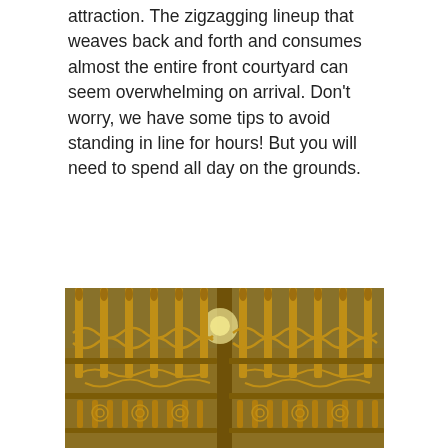attraction. The zigzagging lineup that weaves back and forth and consumes almost the entire front courtyard can seem overwhelming on arrival. Don't worry, we have some tips to avoid standing in line for hours! But you will need to spend all day on the grounds.
[Figure (photo): Close-up photograph of ornate golden wrought iron gates, showing elaborate decorative scrollwork, fleur-de-lis finials, and intricate baroque patterns. The gates are photographed against a blue sky with sunlight visible through the metalwork.]